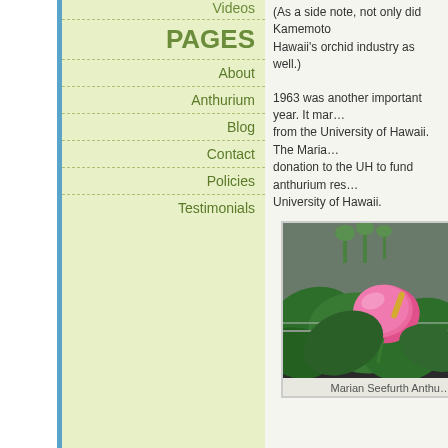Videos
PAGES
About
Anthurium
Blog
Contact
Policies
Testimonials
(As a side note, not only did Kamemoto Hawaii's orchid industry as well.)
1963 was another important year. It marked from the University of Hawaii. The Maria donation to the UH to fund anthurium research University of Hawaii.
[Figure (photo): Pink anthurium flower with large green leaves growing in a garden bed with dark volcanic soil and drip irrigation lines visible. Greenhouse or outdoor setting with plants in background.]
Marian Seefurth Anthu…